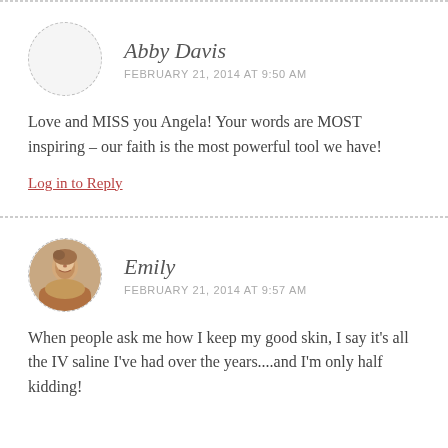Abby Davis
FEBRUARY 21, 2014 AT 9:50 AM
Love and MISS you Angela! Your words are MOST inspiring – our faith is the most powerful tool we have!
Log in to Reply
Emily
FEBRUARY 21, 2014 AT 9:57 AM
When people ask me how I keep my good skin, I say it's all the IV saline I've had over the years....and I'm only half kidding!